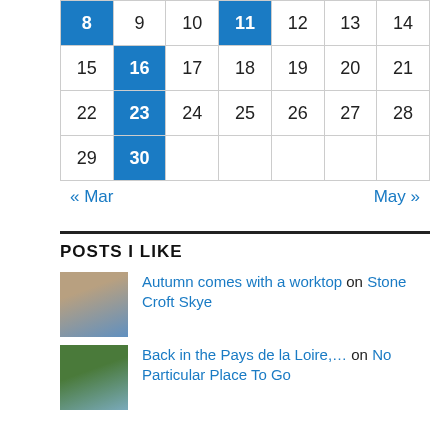| 8 | 9 | 10 | 11 | 12 | 13 | 14 |
| 15 | 16 | 17 | 18 | 19 | 20 | 21 |
| 22 | 23 | 24 | 25 | 26 | 27 | 28 |
| 29 | 30 |  |  |  |  |  |
« Mar    May »
POSTS I LIKE
Autumn comes with a worktop on Stone Croft Skye
Back in the Pays de la Loire,… on No Particular Place To Go